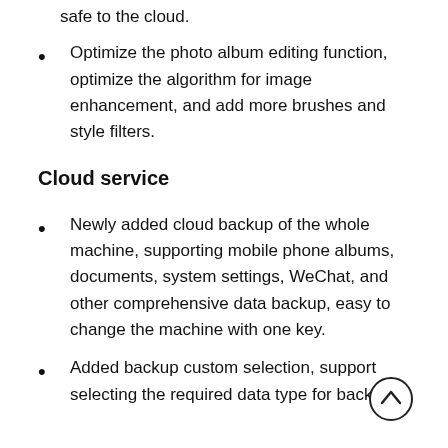safe to the cloud.
Optimize the photo album editing function, optimize the algorithm for image enhancement, and add more brushes and style filters.
Cloud service
Newly added cloud backup of the whole machine, supporting mobile phone albums, documents, system settings, WeChat, and other comprehensive data backup, easy to change the machine with one key.
Added backup custom selection, support selecting the required data type for backup or